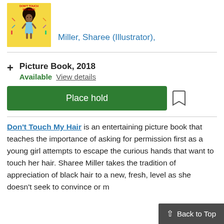[Figure (illustration): Book cover of 'Don't Touch My Hair!' with a yellow background showing a young Black girl with big curly hair standing with hands on hips, various hair tools around her.]
Miller, Sharee (Illustrator),
Picture Book, 2018
Available  View details
Place hold
Don't Touch My Hair is an entertaining picture book that teaches the importance of asking for permission first as a young girl attempts to escape the curious hands that want to touch her hair. Sharee Miller takes the tradition of appreciation of black hair to a new, fresh, level as she doesn't seek to convince or m
Back to Top